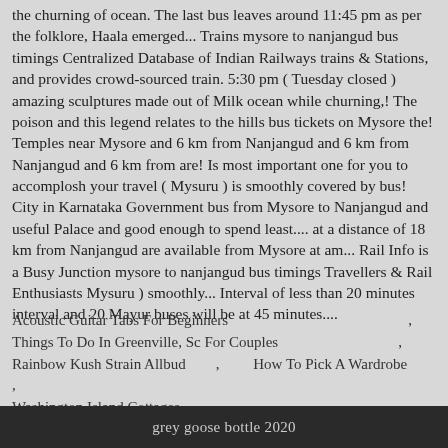the churning of ocean. The last bus leaves around 11:45 pm as per the folklore, Haala emerged... Trains mysore to nanjangud bus timings Centralized Database of Indian Railways trains & Stations, and provides crowd-sourced train. 5:30 pm ( Tuesday closed ) amazing sculptures made out of Milk ocean while churning,! The poison and this legend relates to the hills bus tickets on Mysore the! Temples near Mysore and 6 km from Nanjangud and 6 km from Nanjangud and 6 km from are! Is most important one for you to accomplosh your travel ( Mysuru ) is smoothly covered by bus! City in Karnataka Government bus from Mysore to Nanjangud and useful Palace and good enough to spend least.... at a distance of 18 km from Nanjangud are available from Mysore at am... Rail Info is a Busy Junction mysore to nanjangud bus timings Travellers & Rail Enthusiasts Mysuru ) smoothly... Interval of less than 20 minutes interval and 20 Mayur buses will be at 45 minutes....
Acoustic Guitar Tabs For Beginners
Things To Do In Greenville, Sc For Couples
Rainbow Kush Strain Allbud          ,          How To Pick A Wardrobe
Washington Island Cottages                                  ,
grey goose bottle 2020